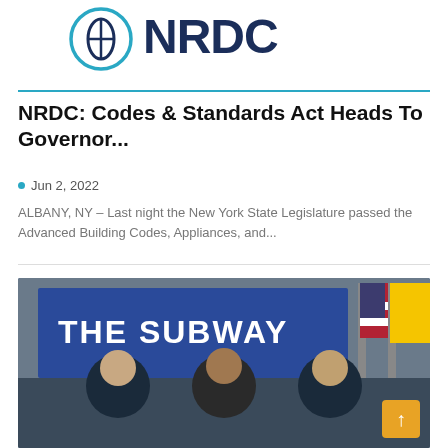[Figure (logo): NRDC logo with circular leaf icon and bold NRDC text in dark navy blue]
NRDC: Codes & Standards Act Heads To Governor...
Jun 2, 2022
ALBANY, NY – Last night the New York State Legislature passed the Advanced Building Codes, Appliances, and...
[Figure (photo): Three men standing in front of a screen reading THE SUBWAY, with American and New York state flags in background. Two men in police uniform flank a man in a suit.]